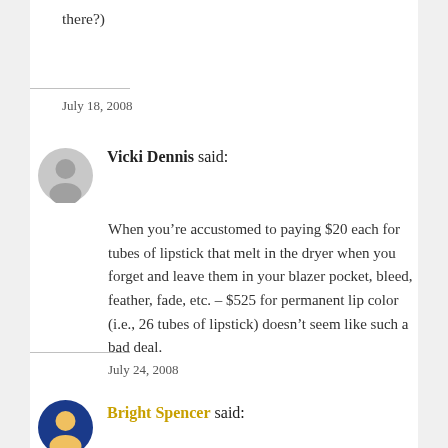there?)
July 18, 2008
Vicki Dennis said:
When you’re accustomed to paying $20 each for tubes of lipstick that melt in the dryer when you forget and leave them in your blazer pocket, bleed, feather, fade, etc. – $525 for permanent lip color (i.e., 26 tubes of lipstick) doesn’t seem like such a bad deal.
July 24, 2008
Bright Spencer said: